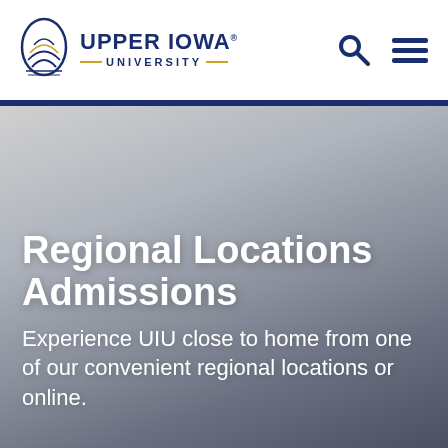[Figure (logo): Upper Iowa University logo with circular emblem and text]
[Figure (other): Search icon and hamburger menu icon in navy blue]
Regional Locations Admissions
Experience UIU close to home from one of our convenient regional locations or online.